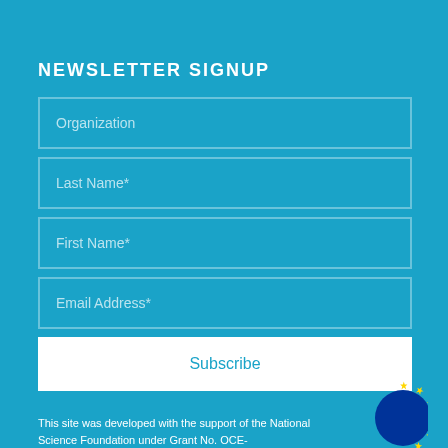NEWSLETTER SIGNUP
Organization
Last Name*
First Name*
Email Address*
Subscribe
This site was developed with the support of the National Science Foundation under Grant No. OCE-